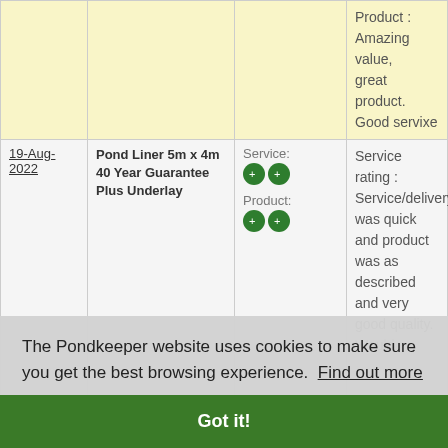| Date | Product | Rating | Review |
| --- | --- | --- | --- |
|  |  |  | Product : Amazing value, great product. Good servixe |
| 19-Aug-2022 | Pond Liner 5m x 4m 40 Year Guarantee Plus Underlay | Service: ++ Product: ++ | Service rating : Service/delivery was quick and product was as described and very good quality. Would... |
The Pondkeeper website uses cookies to make sure you get the best browsing experience. Find out more
Got it!